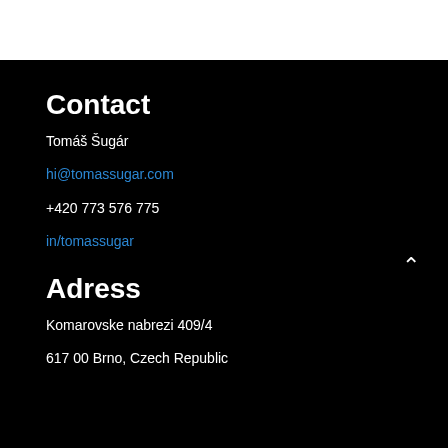Contact
Tomáš Šugár
hi@tomassugar.com
+420 773 576 775
in/tomassugar
Adress
Komarovske nabrezi 409/4
617 00 Brno, Czech Republic